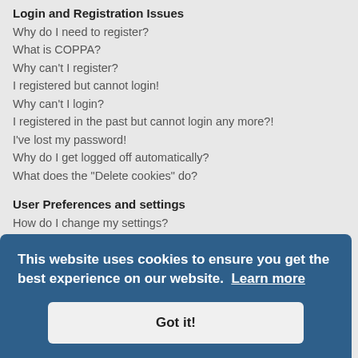Login and Registration Issues
Why do I need to register?
What is COPPA?
Why can't I register?
I registered but cannot login!
Why can't I login?
I registered in the past but cannot login any more?!
I've lost my password!
Why do I get logged off automatically?
What does the "Delete cookies" do?
User Preferences and settings
How do I change my settings?
How do I prevent my username appearing in the online user listings?
The times are not correct!
I changed the timezone and the time is still wrong!
My language is not in the list!
What are the images next to my username?
How do I display an avatar?
When I click the email link for a user it asks me to login?
Posting Issues
How do I create a new topic or post a reply?
How do I edit or delete a post?
How do I add a signature to my post?
This website uses cookies to ensure you get the best experience on our website. Learn more
Got it!